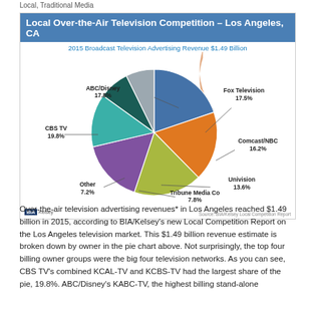Local, Traditional Media
[Figure (pie-chart): Local Over-the-Air Television Competition – Los Angeles, CA]
Over-the-air television advertising revenues* in Los Angeles reached $1.49 billion in 2015, according to BIA/Kelsey's new Local Competition Report on the Los Angeles television market. This $1.49 billion revenue estimate is broken down by owner in the pie chart above. Not surprisingly, the top four billing owner groups were the big four television networks. As you can see, CBS TV's combined KCAL-TV and KCBS-TV had the largest share of the pie, 19.8%. ABC/Disney's KABC-TV, the highest billing stand-alone